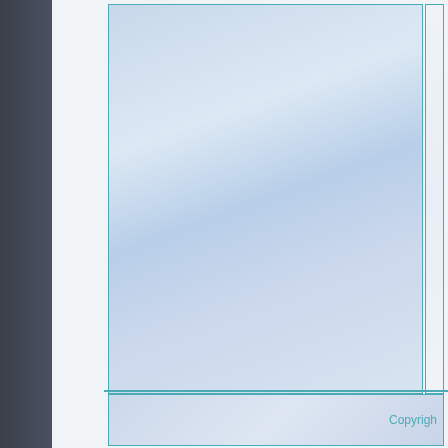[Figure (other): Large decorative panel with blue-white gradient fill, teal border, occupying the left portion of the page]
[Figure (other): Decorative panel with light gray-white gradient fill, teal border, occupying the upper right portion of the page]
Copyrigh